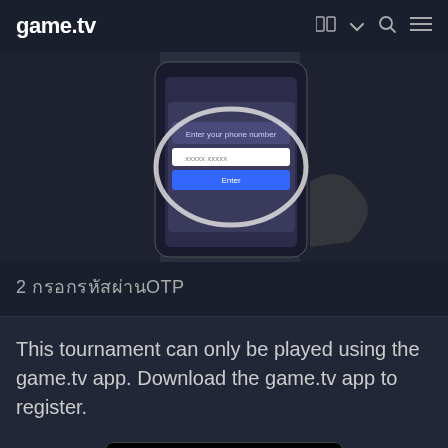game.tv
[Figure (screenshot): Screenshot of game.tv mobile app showing phone number entry screen with 'Enter your phone number' prompt, a text field showing 'xxxxx xxxxx', and a blue 'Enter' button, magnified inside an oval/circle overlay on a dark background with a hand holding a phone.]
2 กรอกรหัสผ่านOTP
This tournament can only be played using the game.tv app. Download the game.tv app to register.
[Figure (logo): Google Play store badge with colorful play triangle icon and text 'GET IT ON Google Play']